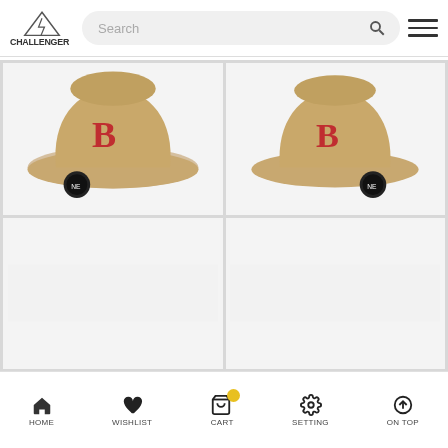[Figure (logo): Challenger brand logo with mountain/lightning graphic and text]
[Figure (screenshot): Search bar with placeholder text 'Search' and magnifying glass icon]
[Figure (photo): Beige/tan Boston Red Sox New Era bucket hat with red B logo, front-left angle view]
[Figure (photo): Beige/tan Boston Red Sox New Era bucket hat with red B logo, front-right angle view]
[Figure (photo): Partial view of third product card, bottom-left]
[Figure (photo): Partial view of fourth product card, bottom-right]
HOME   WISHLIST   CART   SETTING   ON TOP